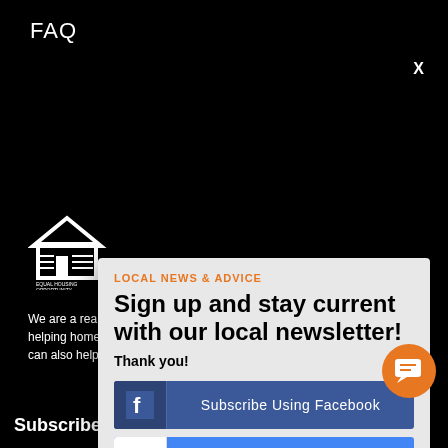FAQ
[Figure (logo): Equal Housing Opportunity logo - white house icon with text EQUAL HOUSING OPPORTUNITY]
We are a real estate solutions and investment firm that specializes in helping homeowners sell their homes. We are the home buyers but we can also help you get your ROCKET CASH OFFER today!
LOCAL NEWS & ADVICE
Sign up and stay current with our local newsletter!
Thank you!
Subscribe Using Facebook
Subscribe Using Google
Continue with Email
Subscribe To Our Newsletter